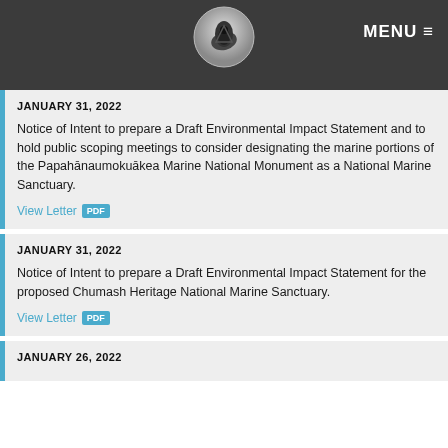MENU
FEBRUARY 4, 2022
Application from The Whale [Forum] to conduct research on Southern Resident killer whales in Washington.
View Letter PDF
JANUARY 31, 2022
Notice of Intent to prepare a Draft Environmental Impact Statement and to hold public scoping meetings to consider designating the marine portions of the Papahānaumokuākea Marine National Monument as a National Marine Sanctuary.
View Letter PDF
JANUARY 31, 2022
Notice of Intent to prepare a Draft Environmental Impact Statement for the proposed Chumash Heritage National Marine Sanctuary.
View Letter PDF
JANUARY 26, 2022